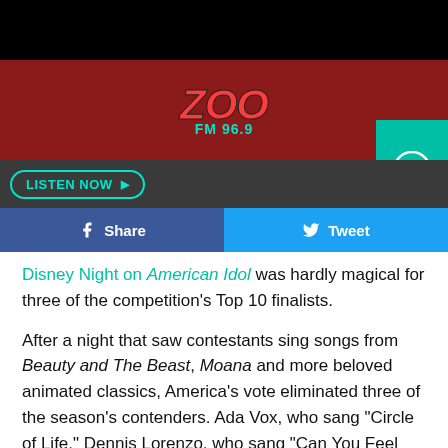[Figure (screenshot): Zoo FM 96.9 radio station mobile app header with red background, white hamburger menu on left, teal play button on right, and Zoo FM 96.9 logo in center]
[Figure (screenshot): Dark gray toolbar with LISTEN NOW button outlined in teal]
[Figure (screenshot): Facebook Share and Twitter Tweet social sharing buttons]
Disney Night on American Idol was hardly magical for three of the competition's Top 10 finalists.
After a night that saw contestants sing songs from Beauty and The Beast, Moana and more beloved animated classics, America's vote eliminated three of the season's contenders. Ada Vox, who sang "Circle of Life," Dennis Lorenzo, who sang "Can You Feel the Love Tonight" and Michelle Sussett, who sang "Remember Me" were all given the boot.